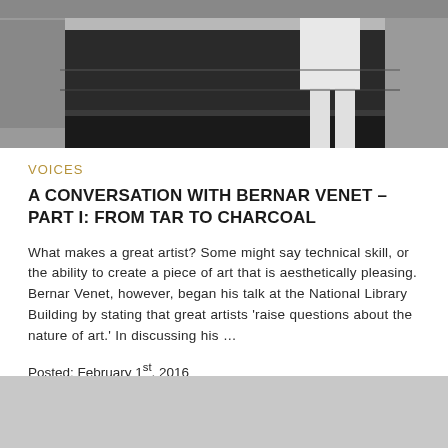[Figure (photo): Black and white photograph of a person in white clothing standing near dark industrial or art equipment]
VOICES
A CONVERSATION WITH BERNAR VENET – PART I: FROM TAR TO CHARCOAL
What makes a great artist? Some might say technical skill, or the ability to create a piece of art that is aesthetically pleasing. Bernar Venet, however, began his talk at the National Library Building by stating that great artists 'raise questions about the nature of art.' In discussing his …
Posted: February 1st, 2016
Category: Voices
[Figure (photo): Partial gray image at the bottom of the page]